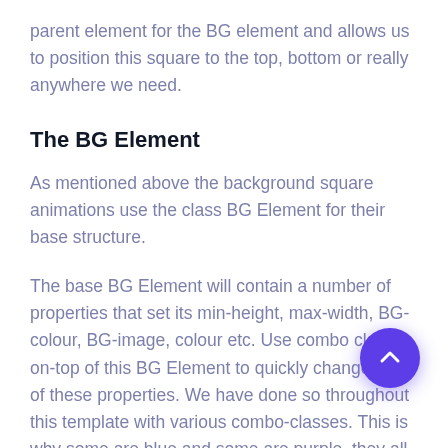parent element for the BG element and allows us to position this square to the top, bottom or really anywhere we need.
The BG Element
As mentioned above the background square animations use the class BG Element for their base structure.
The base BG Element will contain a number of properties that set its min-height, max-width, BG-colour, BG-image, colour etc. Use combo classes on-top of this BG Element to quickly change any of these properties. We have done so throughout this template with various combo-classes. This is why some are blue and some are purple, they all use the base BG-element class so we can rapidly